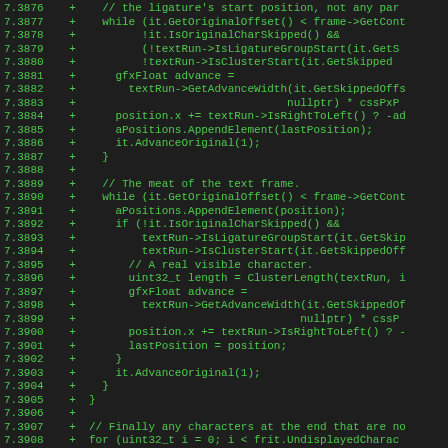[Figure (screenshot): Code diff view showing C++ source code lines 7.3876 through 7.3908 with green '+' markers indicating added lines. Dark background with green monospace text showing a code implementation dealing with text frame processing, ligature groups, cluster starts, and character advancement.]